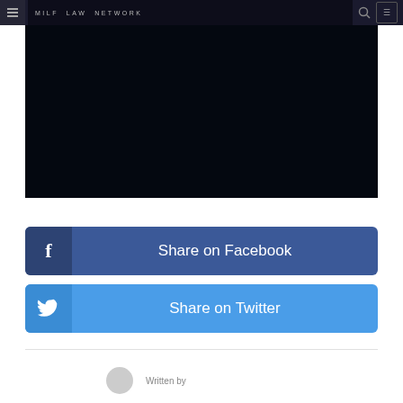Navigation bar with hamburger menu, site logo/title, search icon, and menu button
[Figure (screenshot): Dark/black video player area]
Share on Facebook
Share on Twitter
Written by